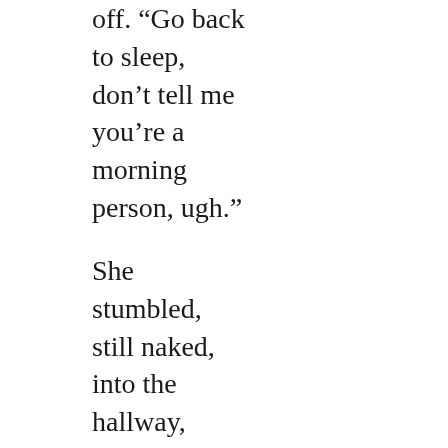off. “Go back to sleep, don’t tell me you’re a morning person, ugh.”
She stumbled, still naked, into the hallway, heading in the direction of the bathroom